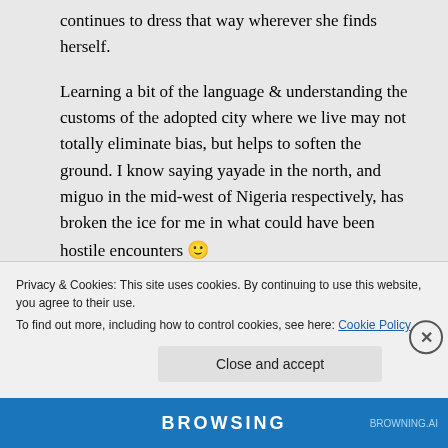continues to dress that way wherever she finds herself.
Learning a bit of the language & understanding the customs of the adopted city where we live may not totally eliminate bias, but helps to soften the ground. I know saying yayade in the north, and miguo in the mid-west of Nigeria respectively, has broken the ice for me in what could have been hostile encounters 🙂
Privacy & Cookies: This site uses cookies. By continuing to use this website, you agree to their use.
To find out more, including how to control cookies, see here: Cookie Policy